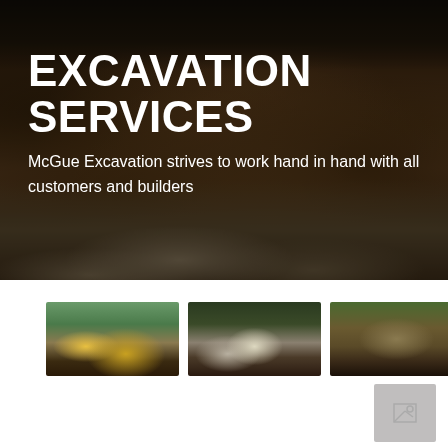[Figure (photo): Dark excavation site photo showing large mounds of dirt and earth, with heavy equipment visible at top, rocks and debris in lower portion. Dark, moody lighting.]
EXCAVATION SERVICES
McGue Excavation strives to work hand in hand with all customers and builders
[Figure (photo): Four thumbnail photos of excavation work: yellow excavator in wooded area, truck/dump truck at site, trench excavation, and excavator digging.]
[Figure (other): Small gray placeholder box in bottom right corner]